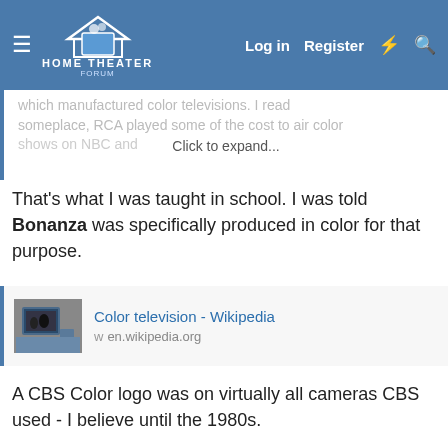HOME THEATER FORUM — Log in | Register
which manufactured color televisions. I read someplace, RCA played some of the cost to air color shows on NBC and... [Click to expand...]
That's what I was taught in school. I was told Bonanza was specifically produced in color for that purpose.
[Figure (screenshot): Wikipedia thumbnail image of color television equipment]
Color television - Wikipedia
en.wikipedia.org
A CBS Color logo was on virtually all cameras CBS used - I believe until the 1980s.
Here is the closest I could find to the answer to the original question